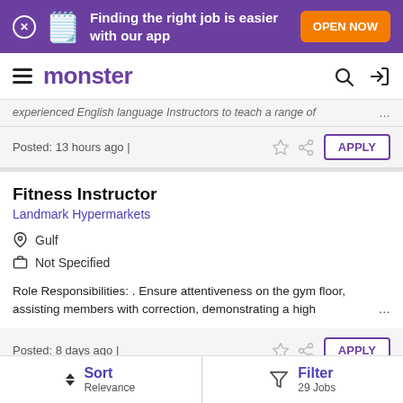[Figure (screenshot): Monster job search app promotional banner with purple background, mascot character, and orange OPEN NOW button]
monster
experienced English language Instructors to teach a range of...
Posted: 13 hours ago |
Fitness Instructor
Landmark Hypermarkets
Gulf
Not Specified
Role Responsibilities: . Ensure attentiveness on the gym floor, assisting members with correction, demonstrating a high ...
Posted: 8 days ago |
Sort Relevance | Filter 29 Jobs